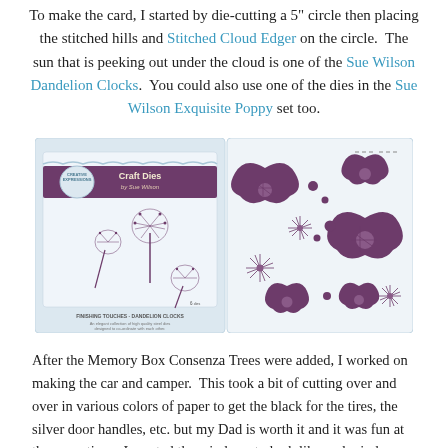To make the card, I started by die-cutting a 5" circle then placing the stitched hills and Stitched Cloud Edger on the circle. The sun that is peeking out under the cloud is one of the Sue Wilson Dandelion Clocks. You could also use one of the dies in the Sue Wilson Exquisite Poppy set too.
[Figure (photo): Product photo showing two craft die sets: on the left, packaging for 'Creative Expressions Craft Dies by Sue Wilson - Finishing Touches Dandelion Clocks' with dandelion illustrations; on the right, the individual dies displayed showing poppy/flower shapes in purple/mauve color.]
After the Memory Box Consenza Trees were added, I worked on making the car and camper. This took a bit of cutting over and over in various colors of paper to get the black for the tires, the silver door handles, etc. but my Dad is worth it and it was fun at the same time. I wanted the windows to look like real windows so